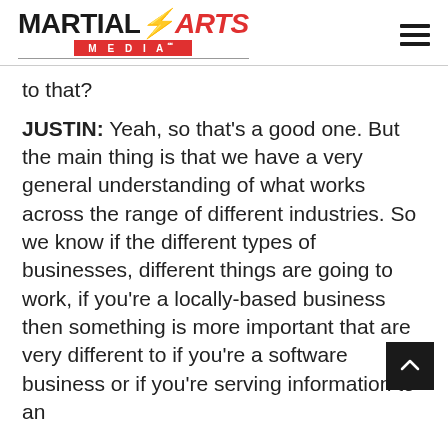MARTIAL ARTS MEDIA
to that?
JUSTIN: Yeah, so that's a good one. But the main thing is that we have a very general understanding of what works across the range of different industries. So we know if the different types of businesses, different things are going to work, if you're a locally-based business then something is more important that are very different to if you're a software business or if you're serving information to an